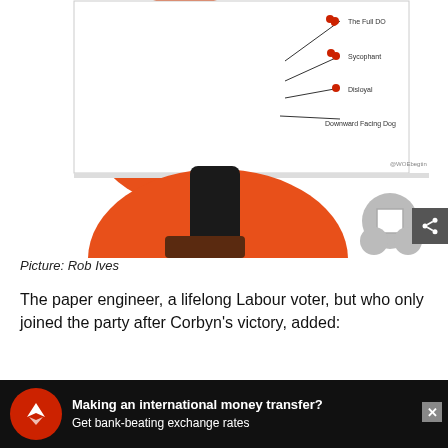[Figure (illustration): Paper craft / cut-out illustration of a Corbyn-themed paper toy showing orange circles, a suited figure, a dial labeled with sycophancy levels (The Full DO, Sycophant, Disloyal, Downward Facing Dog), instructions for assembly, a washer diagram, and a cut-out boot. Credit: @WOEbegtin. Share button visible.]
Picture: Rob Ives
The paper engineer, a lifelong Labour voter, but who only joined the party after Corbyn's victory, added:
“”
[Figure (infographic): Advertisement banner: Making an international money transfer? Get bank-beating exchange rates. Red circle logo with eagle/bird icon.]